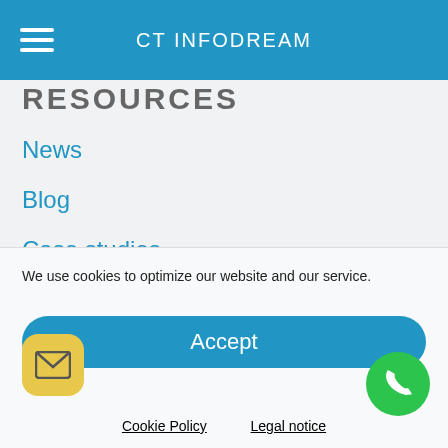CT INFODREAM
RESOURCES
News
Blog
Case studies
Links
ASSISTANCE
Services
We use cookies to optimize our website and our service.
Accept
Cookie Policy   Legal notice